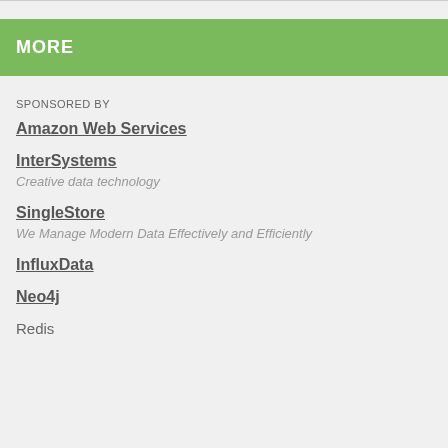MORE
SPONSORED BY
Amazon Web Services
InterSystems
Creative data technology
SingleStore
We Manage Modern Data Effectively and Efficiently
InfluxData
Neo4j
Redis